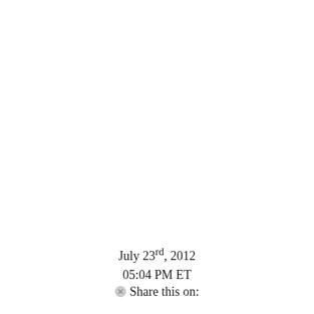July 23rd, 2012
05:04 PM ET
Share this on: